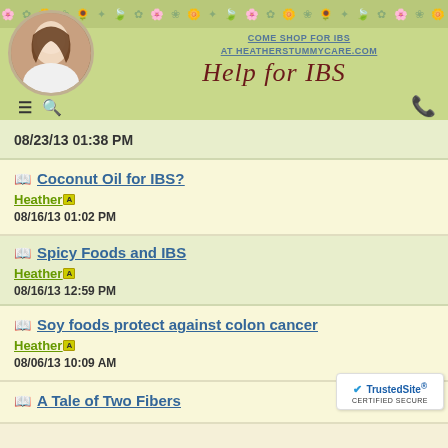COME SHOP FOR IBS AT HEATHERSTUMMYCARE.COM
[Figure (logo): Help for IBS cursive logo with portrait photo]
08/23/13 01:38 PM
Coconut Oil for IBS? Heather [A] 08/16/13 01:02 PM
Spicy Foods and IBS Heather [A] 08/16/13 12:59 PM
Soy foods protect against colon cancer Heather [A] 08/06/13 10:09 AM
A Tale of Two Fibers